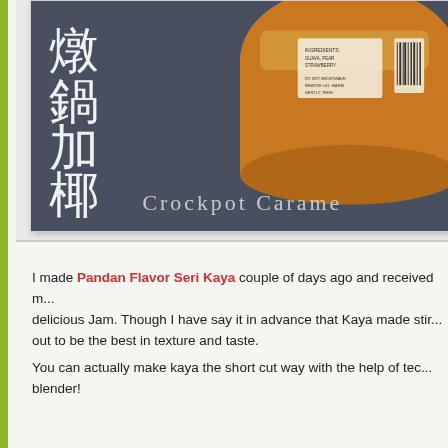[Figure (photo): A photo of a jar of caramel/kaya spread with Chinese characters (燉鍋加椰) and the text 'Crockpot Carame' visible, on a dark blue-grey background]
I made Pandan Flavor Seri Kaya couple of days ago and received m... delicious Jam. Though I have say it in advance that Kaya made stir... out to be the best in texture and taste.
You can actually make kaya the short cut way with the help of tech... blender!